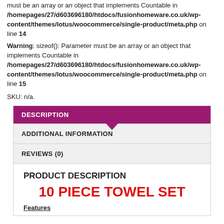must be an array or an object that implements Countable in /homepages/27/d603696180/htdocs/fusionhomeware.co.uk/wp-content/themes/lotus/woocommerce/single-product/meta.php on line 14
Warning: sizeof(): Parameter must be an array or an object that implements Countable in /homepages/27/d603696180/htdocs/fusionhomeware.co.uk/wp-content/themes/lotus/woocommerce/single-product/meta.php on line 15
SKU: n/a.
DESCRIPTION
ADDITIONAL INFORMATION
REVIEWS (0)
PRODUCT DESCRIPTION
10 PIECE TOWEL SET
Features